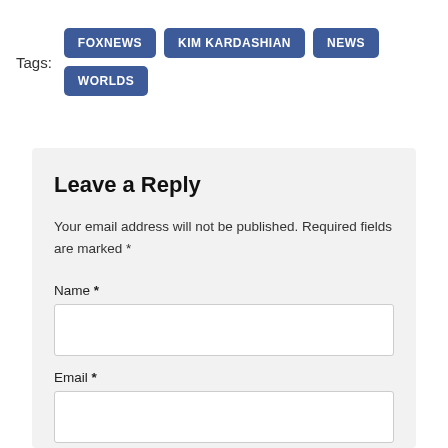Tags: FOXNEWS KIM KARDASHIAN NEWS WORLDS
Leave a Reply
Your email address will not be published. Required fields are marked *
Name *
Email *